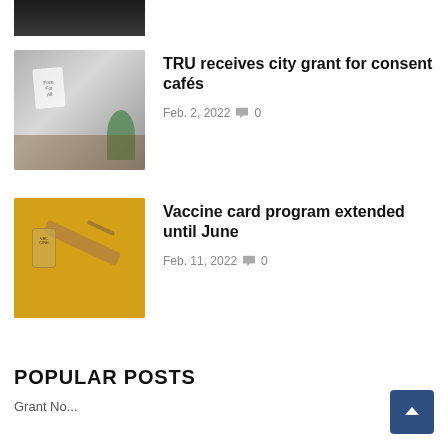[Figure (photo): Partial top image cropped at top of page, dark indoor scene]
[Figure (photo): Indoor event scene with plant and sign on table — consent cafes]
TRU receives city grant for consent cafés
Feb. 2, 2022  🗨 0
[Figure (photo): Vaccine syringe and vial on yellow background]
Vaccine card program extended until June
Feb. 11, 2022  🗨 0
POPULAR POSTS
Grant No... [partially visible]